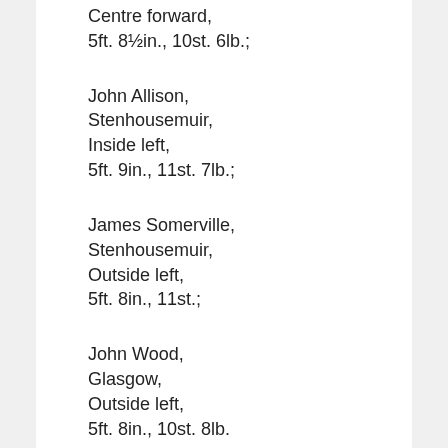Centre forward,
5ft. 8½in., 10st. 6lb.;
John Allison,
Stenhousemuir,
Inside left,
5ft. 9in., 11st. 7lb.;
James Somerville,
Stenhousemuir,
Outside left,
5ft. 8in., 11st.;
John Wood,
Glasgow,
Outside left,
5ft. 8in., 10st. 8lb.